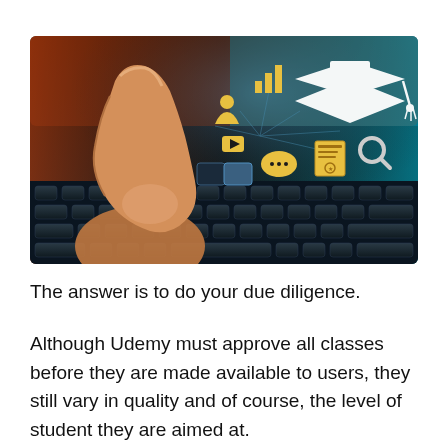[Figure (photo): A finger pressing a key on a laptop keyboard with a glowing graduation cap icon and education-related icons (bar chart, person, video, chat, certificate, magnifying glass) floating above the screen on a dark background with teal/orange lighting.]
The answer is to do your due diligence.
Although Udemy must approve all classes before they are made available to users, they still vary in quality and of course, the level of student they are aimed at.